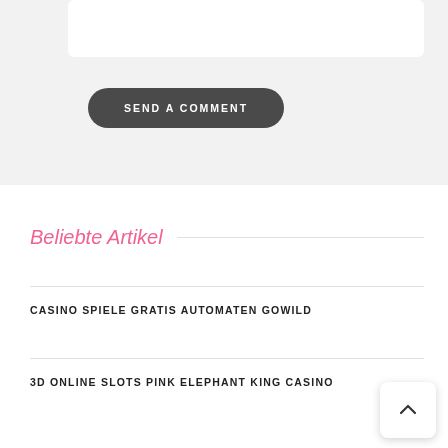[Figure (screenshot): Form input box (white rectangle) at top of comment section on grey background]
SEND A COMMENT
Beliebte Artikel
CASINO SPIELE GRATIS AUTOMATEN GOWILD
3D ONLINE SLOTS PINK ELEPHANT KING CASINO